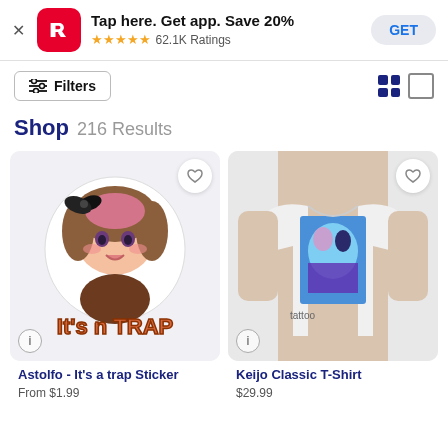[Figure (screenshot): Redbubble app banner ad with RB logo, 'Tap here. Get app. Save 20%', 5-star rating, 62.1K Ratings, and GET button]
Filters
Shop 216 Results
[Figure (photo): Anime sticker product: Astolfo - It's a trap Sticker featuring anime character with 'It's n TRAP' text]
[Figure (photo): Keijo Classic T-Shirt product showing a man wearing a white t-shirt with anime graphic]
Astolfo - It's a trap Sticker
Keijo Classic T-Shirt
From $1.99
$29.99